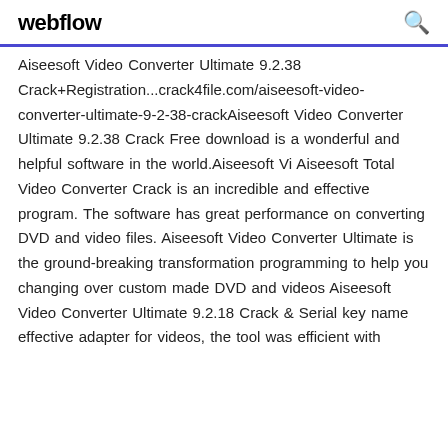webflow
Aiseesoft Video Converter Ultimate 9.2.38 Crack+Registration...crack4file.com/aiseesoft-video-converter-ultimate-9-2-38-crackAiseesoft Video Converter Ultimate 9.2.38 Crack Free download is a wonderful and helpful software in the world.Aiseesoft Vi Aiseesoft Total Video Converter Crack is an incredible and effective program. The software has great performance on converting DVD and video files. Aiseesoft Video Converter Ultimate is the ground-breaking transformation programming to help you changing over custom made DVD and videos Aiseesoft Video Converter Ultimate 9.2.18 Crack & Serial key name effective adapter for videos, the tool was efficient with